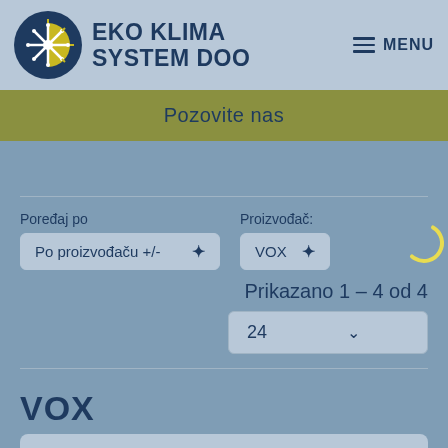[Figure (logo): Eko Klima System DOO logo with circular snowflake/sun emblem in blue and yellow, and bold dark blue text EKO KLIMA SYSTEM DOO]
≡ MENU
Pozovite nas
Poređaj po
Po proizvođaču +/-
Proizvođač:
VOX
Prikazano 1 – 4 od 4
24
VOX